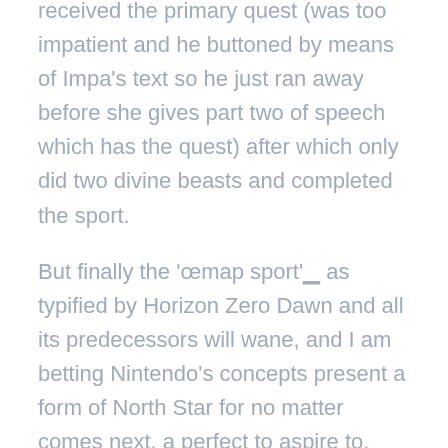received the primary quest (was too impatient and he buttoned by means of Impa's text so he just ran away before she gives part two of speech which has the quest) after which only did two divine beasts and completed the sport.
But finally the 'œmap sport'  as typified by Horizon Zero Dawn and all its predecessors will wane, and I am betting Nintendo's concepts present a form of North Star for no matter comes next, a perfect to aspire to. Within the meantime, we'll always have Breath Of The Wild and Odyssey, and lord knows there'll all the time be more of them to play'"one other mountain on the horizon, glittering with promise, and well worth the funding at last.
When every little thing is shown to you, the sport feels less like an journey and more like a checklist. An intriguing narrative and difficult (generally cruel) gameplay lead to a lesson in humility and character building not typically